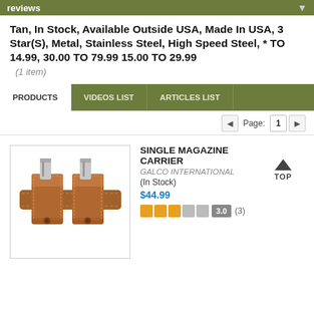reviews
Tan, In Stock, Available Outside USA, Made In USA, 3 Star(S), Metal, Stainless Steel, High Speed Steel, * TO 14.99, 30.00 TO 79.99 15.00 TO 29.99
(1 item)
PRODUCTS  VIDEOS LIST  ARTICLES LIST
Page: 1
[Figure (photo): Product photo of a tan leather Single Magazine Carrier with two magazine slots, belt attachment, shown from front angle.]
SINGLE MAGAZINE CARRIER
GALCO INTERNATIONAL
(In Stock)
$44.99
3.0 (3)